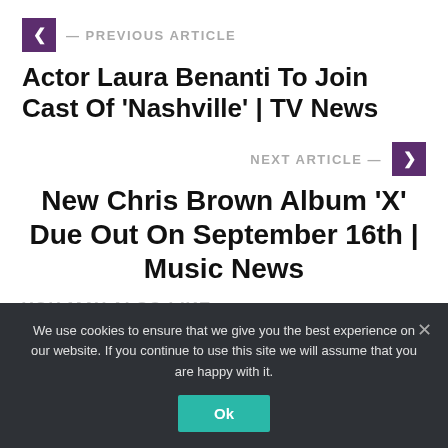< — PREVIOUS ARTICLE
Actor Laura Benanti To Join Cast Of 'Nashville' | TV News
NEXT ARTICLE — >
New Chris Brown Album 'X' Due Out On September 16th | Music News
YOU MAY ALSO LIKE
We use cookies to ensure that we give you the best experience on our website. If you continue to use this site we will assume that you are happy with it.